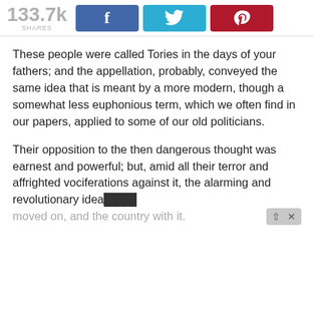133.7k SHARES
These people were called Tories in the days of your fathers; and the appellation, probably, conveyed the same idea that is meant by a more modern, though a somewhat less euphonious term, which we often find in our papers, applied to some of our old politicians.
Their opposition to the then dangerous thought was earnest and powerful; but, amid all their terror and affrighted vociferations against it, the alarming and revolutionary idea moved on, and the country with it.